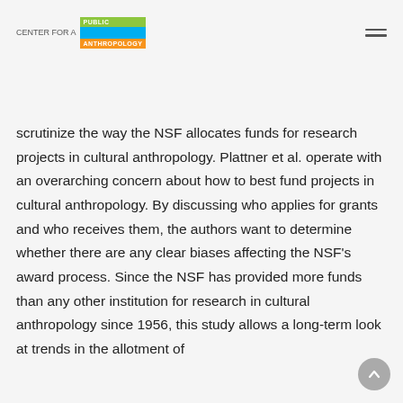CENTER FOR A PUBLIC ANTHROPOLOGY
Anthropology Program of the National Science Foundation (NSF) and his co-authors
scrutinize the way the NSF allocates funds for research projects in cultural anthropology. Plattner et al. operate with an overarching concern about how to best fund projects in cultural anthropology. By discussing who applies for grants and who receives them, the authors want to determine whether there are any clear biases affecting the NSF's award process. Since the NSF has provided more funds than any other institution for research in cultural anthropology since 1956, this study allows a long-term look at trends in the allotment of